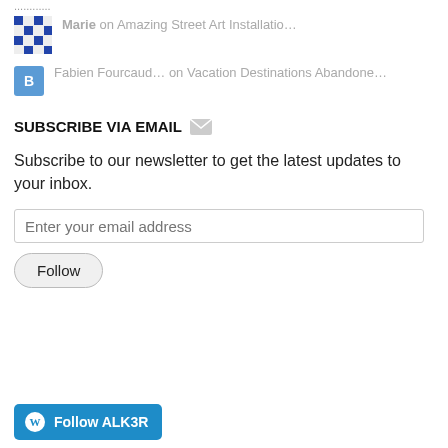Marie on Amazing Street Art Installatio…
Fabien Fourcaud… on Vacation Destinations Abandone…
SUBSCRIBE VIA EMAIL
Subscribe to our newsletter to get the latest updates to your inbox.
Enter your email address
Follow
Follow ALK3R